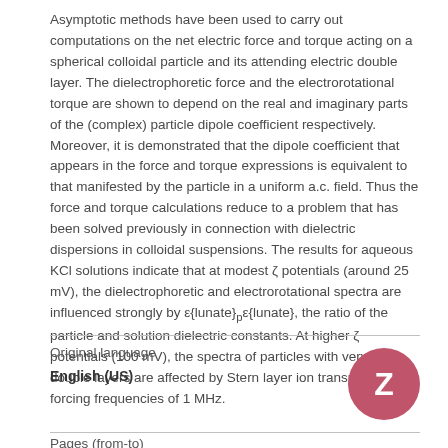Asymptotic methods have been used to carry out computations on the net electric force and torque acting on a spherical colloidal particle and its attending electric double layer. The dielectrophoretic force and the electrorotational torque are shown to depend on the real and imaginary parts of the (complex) particle dipole coefficient respectively. Moreover, it is demonstrated that the dipole coefficient that appears in the force and torque expressions is equivalent to that manifested by the particle in a uniform a.c. field. Thus the force and torque calculations reduce to a problem that has been solved previously in connection with dielectric dispersions in colloidal suspensions. The results for aqueous KCl solutions indicate that at modest ζ potentials (around 25 mV), the dielectrophoretic and electrorotational spectra are influenced strongly by ε{lunate}pε{lunate}, the ratio of the particle and solution dielectric constants. At higher ζ potentials (100 mV), the spectra of particles with very thin double layers are affected by Stern layer ion transport below forcing frequencies of 1 MHz.
Original language
English (US)
Pages (from-to)